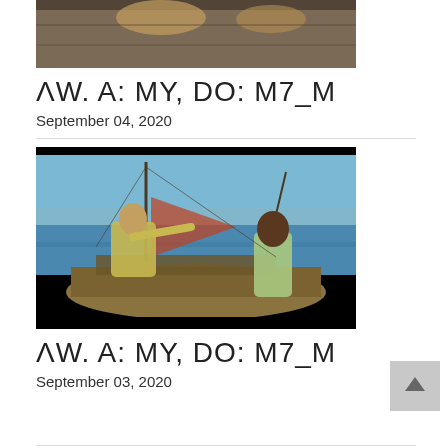[Figure (photo): Partial view of food/dishes on a wooden surface, cropped at top]
ΛW. A: MY, DO: M7_M
September 04, 2020
[Figure (photo): Scene of a man in a boat on water with another person nearby, biblical/historical style]
ΛW. A: MY, DO: M7_M
September 03, 2020